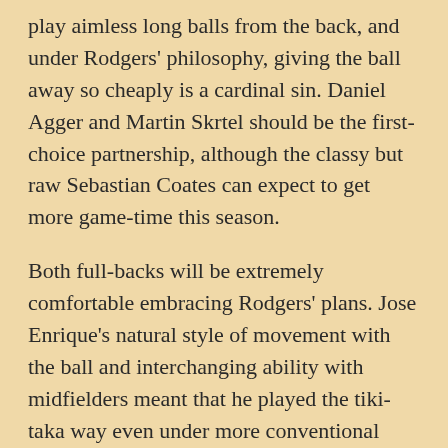play aimless long balls from the back, and under Rodgers' philosophy, giving the ball away so cheaply is a cardinal sin. Daniel Agger and Martin Skrtel should be the first-choice partnership, although the classy but raw Sebastian Coates can expect to get more game-time this season.
Both full-backs will be extremely comfortable embracing Rodgers' plans. Jose Enrique's natural style of movement with the ball and interchanging ability with midfielders meant that he played the tiki-taka way even under more conventional managers. Glen Johnson loves the ball at his feet, and his fluidity will be cherished by Rodgers. The beauty of Rodgers' system is that it can cover Johnson's obvious defensive deficiencies. Substitute full-back Martin Kelly can also fit in seamlessly.
The only doubts surround the role of the English contingent at the club. Andy Carroll, Jordan Henderson, Stewart Downing and Joe Cole will have to work hard to get into Rodgers' plans. If Rodgers feels they can't embrace his philosophy, it wouldn't be a surprise to see them jettisoned out of the club in January.